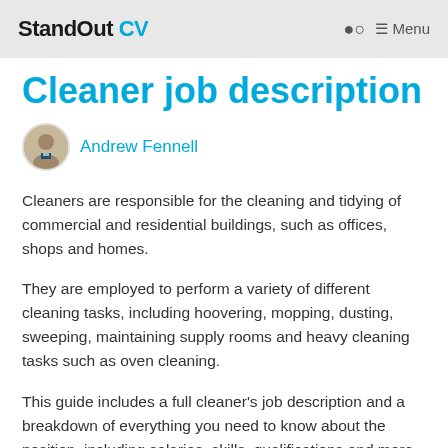StandOut CV — Menu
Cleaner job description
Andrew Fennell
Cleaners are responsible for the cleaning and tidying of commercial and residential buildings, such as offices, shops and homes.
They are employed to perform a variety of different cleaning tasks, including hoovering, mopping, dusting, sweeping, maintaining supply rooms and heavy cleaning tasks such as oven cleaning.
This guide includes a full cleaner's job description and a breakdown of everything you need to know about the position, including salaries, skills, qualifications and more.